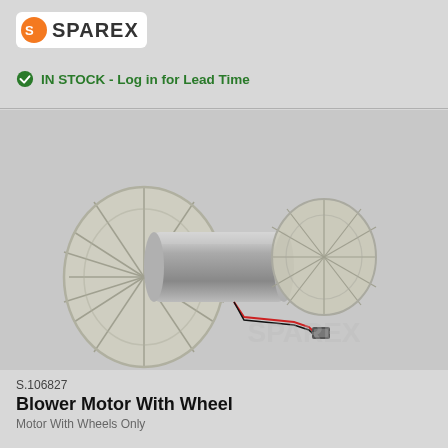[Figure (logo): Sparex logo with orange circular icon and bold text SPAREX]
IN STOCK - Log in for Lead Time
[Figure (photo): Blower motor with two plastic fan wheels on either side of a cylindrical metal motor body, with electrical connector wires]
S.106827
Blower Motor With Wheel
Motor With Wheels Only